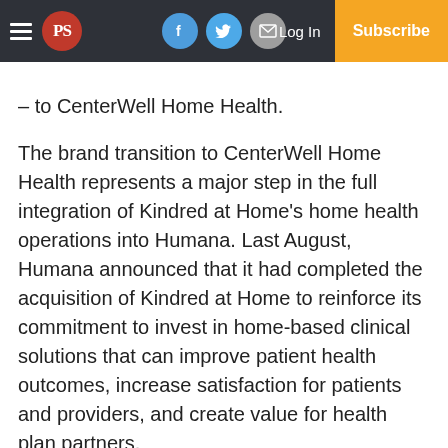PS | Log In | Subscribe
– to CenterWell Home Health.
The brand transition to CenterWell Home Health represents a major step in the full integration of Kindred at Home's home health operations into Humana. Last August, Humana announced that it had completed the acquisition of Kindred at Home to reinforce its commitment to invest in home-based clinical solutions that can improve patient health outcomes, increase satisfaction for patients and providers, and create value for health plan partners.
“During the pandemic, the amount of care delivered